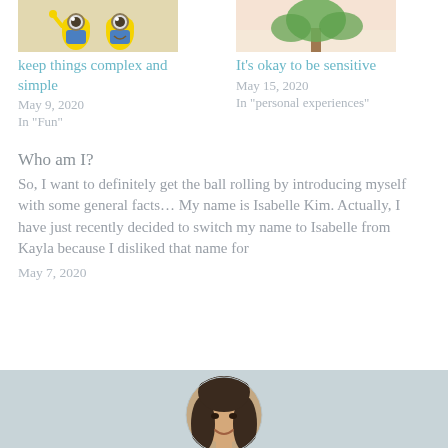[Figure (photo): Thumbnail of Minion cartoon characters]
keep things complex and simple
May 9, 2020
In "Fun"
[Figure (photo): Thumbnail showing plant/tree illustration with pink background]
It's okay to be sensitive
May 15, 2020
In "personal experiences"
Who am I?
So, I want to definitely get the ball rolling by introducing myself with some general facts… My name is Isabelle Kim. Actually, I have just recently decided to switch my name to Isabelle from Kayla because I disliked that name for
May 7, 2020
[Figure (photo): Circular profile photo of a young woman with long dark hair, smiling]